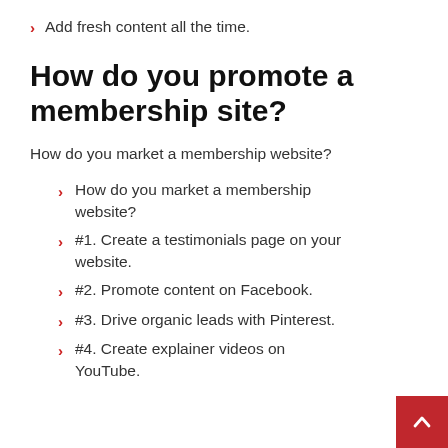Add fresh content all the time.
How do you promote a membership site?
How do you market a membership website?
How do you market a membership website?
#1. Create a testimonials page on your website.
#2. Promote content on Facebook.
#3. Drive organic leads with Pinterest.
#4. Create explainer videos on YouTube.